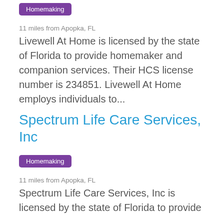Homemaking
11 miles from Apopka, FL
Livewell At Home is licensed by the state of Florida to provide homemaker and companion services. Their HCS license number is 234851. Livewell At Home employs individuals to...
Spectrum Life Care Services, Inc
Homemaking
11 miles from Apopka, FL
Spectrum Life Care Services, Inc is licensed by the state of Florida to provide